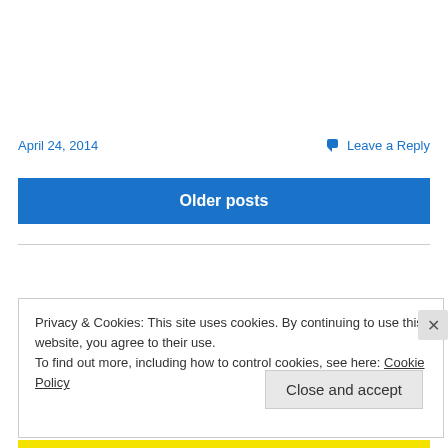April 24, 2014
Leave a Reply
Older posts
Privacy & Cookies: This site uses cookies. By continuing to use this website, you agree to their use.
To find out more, including how to control cookies, see here: Cookie Policy
Close and accept